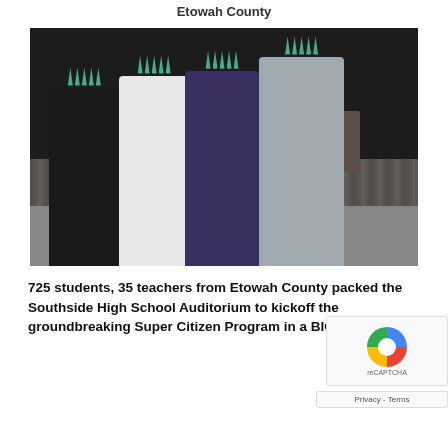Etowah County
[Figure (photo): Four elementary school children wearing Statue of Liberty paper crowns, holding small American flags, smiling at the camera inside a school auditorium. Other students with similar crowns are visible in the background.]
725 students, 35 teachers from Etowah County packed the Southside High School Auditorium to kickoff the groundbreaking Super Citizen Program in a BIG wa...